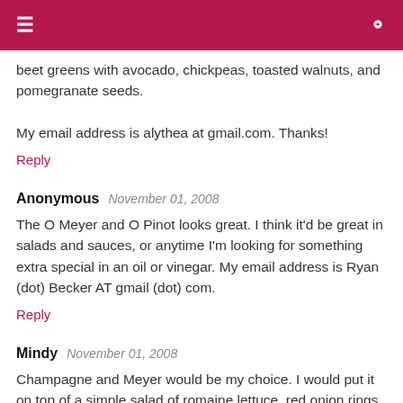beet greens with avocado, chickpeas, toasted walnuts, and pomegranate seeds.

My email address is alythea at gmail.com. Thanks!
Reply
Anonymous   November 01, 2008
The O Meyer and O Pinot looks great. I think it'd be great in salads and sauces, or anytime I'm looking for something extra special in an oil or vinegar. My email address is Ryan (dot) Becker AT gmail (dot) com.
Reply
Mindy   November 01, 2008
Champagne and Meyer would be my choice. I would put it on top of a simple salad of romaine lettuce, red onion rings, homemade croutons, egg